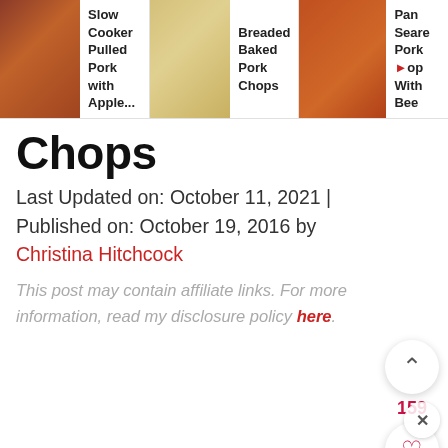Slow Cooker Pulled Pork with Apple... | Breaded Baked Pork Chops | Pan Seared Pork Chops With Beer
Chops
Last Updated on: October 11, 2021 | Published on: October 19, 2016 by Christina Hitchcock
This post may contain affiliate links.  For more information, read my disclosure policy here.
[Figure (photo): Recipe photo of pork chops with mushrooms and apple slices, with watermark 'It's a Keeper']
[Figure (photo): Partially visible recipe photo below main image]